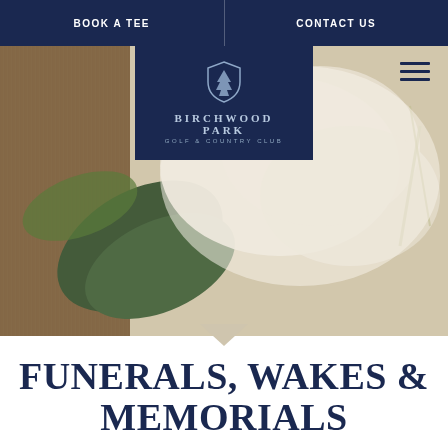BOOK A TEE | CONTACT US
[Figure (logo): Birchwood Park Golf & Country Club logo — shield with tree motif, navy background, text BIRCHWOOD PARK / GOLF & COUNTRY CLUB]
[Figure (photo): Close-up photo of white flowers, green leaves, and wooden surface — soft focus, warm tones]
FUNERALS, WAKES & MEMORIALS